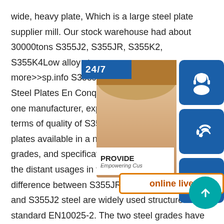wide, heavy plate, Which is a large steel plate supplier mill. Our stock warehouse had about 30000tons S355J2, S355JR, S355K2, S355K4Low alloy steel more>>sp.info S355J2+N Plates, Structural Steel Plates En Conquest Steels & Alloy one manufacturer, exporter, and supplier terms of quality of S355J2+N PLATES. W plates available in a number of range of s grades, and specifications so that it can b the distant usages in the industry.sp.info difference between S355JR and S355J2 steel S355 and S355J2 steel are widely used structure steel standard EN10025-2. The two steel grades have much in common, as they have same Min. yield strength 355Mpa. However, it is also noted that they have difference in JR
[Figure (infographic): Customer service overlay with 24/7 label, headset icon, phone icon, Skype icon, online live button, PROVIDE Empowering Customers text, and scroll-to-top teal circle button]